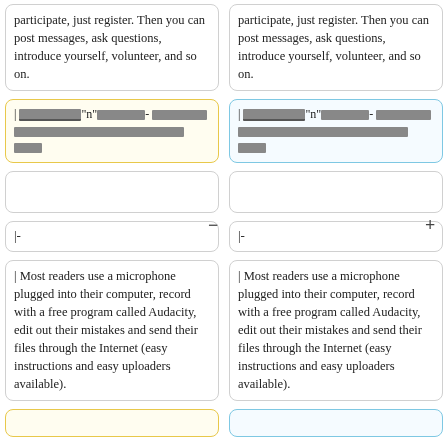| participate, just register. Then you can post messages, ask questions, introduce yourself, volunteer, and so on.
| participate, just register. Then you can post messages, ask questions, introduce yourself, volunteer, and so on.
| [redacted content - wiki markup with redacted text blocks]
| [redacted content - wiki markup with redacted text blocks]
|-
|-
| Most readers use a microphone plugged into their computer, record with a free program called Audacity, edit out their mistakes and send their files through the Internet (easy instructions and easy uploaders available).
| Most readers use a microphone plugged into their computer, record with a free program called Audacity, edit out their mistakes and send their files through the Internet (easy instructions and easy uploaders available).